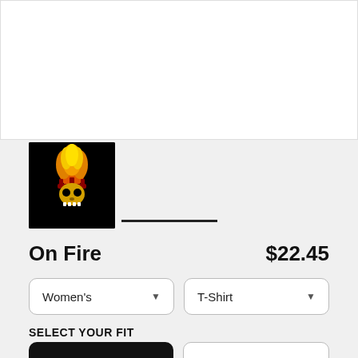[Figure (photo): White product preview area at top of page (shirt display area)]
[Figure (photo): Small thumbnail image of flaming skull design on black background, with underline indicator below the main image carousel]
On Fire
$22.45
Women's
T-Shirt
SELECT YOUR FIT
$22.45
Fitted
$22.45
Regular Unisex